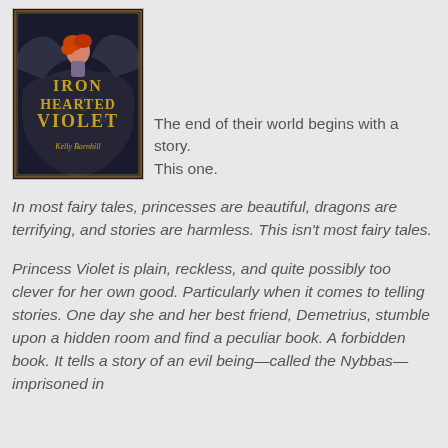[Figure (illustration): Book cover of 'Iron Hearted Violet' by Kelly Barnhill, showing a girl with red hair riding a dark dragon, with ornate gold lettering]
The end of their world begins with a story.
This one.
In most fairy tales, princesses are beautiful, dragons are terrifying, and stories are harmless. This isn't most fairy tales.
Princess Violet is plain, reckless, and quite possibly too clever for her own good. Particularly when it comes to telling stories. One day she and her best friend, Demetrius, stumble upon a hidden room and find a peculiar book. A forbidden book. It tells a story of an evil being—called the Nybbas—imprisoned in